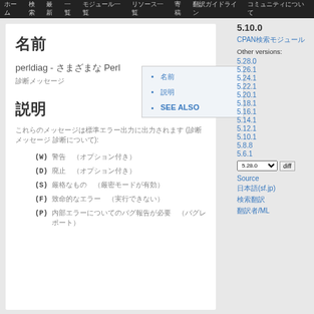Navigation bar with Japanese menu items
名前
perldiag - さまざまな Perl 診断メッセージ
説明のテキスト
説明
これらのメッセージは標準エラー出力に出力されます (診断メッセージ 診断について):
(W) 警告 (オプション付き)
(D) 廃止 (オプション付き)
(S) 厳格なもの (厳密モードが有効)
(F) 致命的なエラー (実行できない)
(P) 内部エラー (バグ報告が必要)